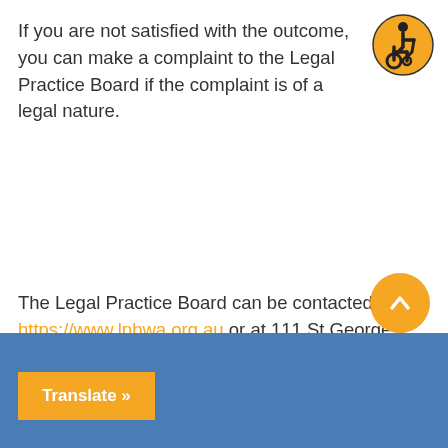If you are not satisfied with the outcome, you can make a complaint to the Legal Practice Board if the complaint is of a legal nature.
[Figure (illustration): Accessibility icon — orange circle with black wheelchair user symbol]
The Legal Practice Board can be contacted via https://www.lpbwa.org.au or at 111 St George's Terrace Perth WA 6000 or telephone 08 6211 3600
[Figure (illustration): Orange circular scroll-to-top button with white upward chevron]
Translate »